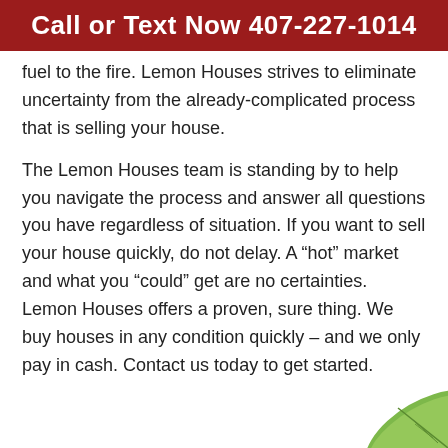Call or Text Now 407-227-1014
fuel to the fire. Lemon Houses strives to eliminate uncertainty from the already-complicated process that is selling your house.
The Lemon Houses team is standing by to help you navigate the process and answer all questions you have regardless of situation. If you want to sell your house quickly, do not delay. A “hot” market and what you “could” get are no certainties. Lemon Houses offers a proven, sure thing. We buy houses in any condition quickly – and we only pay in cash. Contact us today to get started.
[Figure (illustration): Partial green leaf illustration in the bottom-right corner]